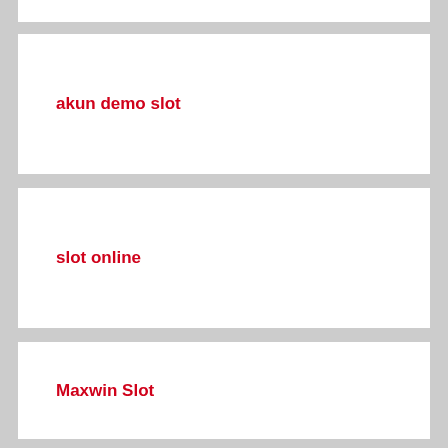akun demo slot
slot online
Maxwin Slot